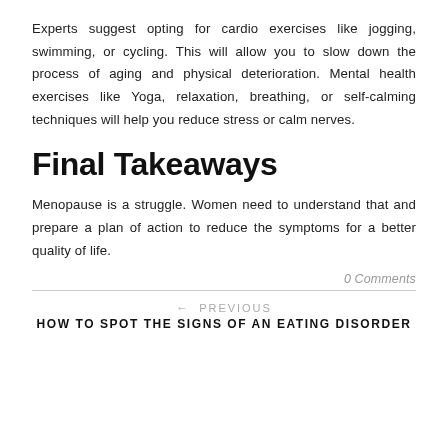Experts suggest opting for cardio exercises like jogging, swimming, or cycling. This will allow you to slow down the process of aging and physical deterioration. Mental health exercises like Yoga, relaxation, breathing, or self-calming techniques will help you reduce stress or calm nerves.
Final Takeaways
Menopause is a struggle. Women need to understand that and prepare a plan of action to reduce the symptoms for a better quality of life.
0 Comments
← PREVIOUS
HOW TO SPOT THE SIGNS OF AN EATING DISORDER